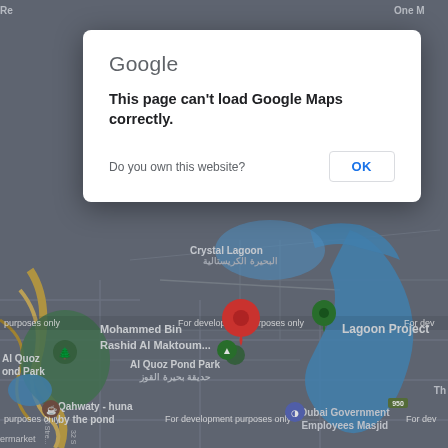[Figure (screenshot): Google Maps screenshot showing Dubai area with a red location pin near Mohammed Bin Rashid Al Maktoum area, with Crystal Lagoon and Lagoon Project visible, Al Quoz Pond Park, Dubai Government Employees Masjid, and various roads and waterways. Map is partially dimmed by a dialog overlay.]
Google
This page can't load Google Maps correctly.
Do you own this website?
OK